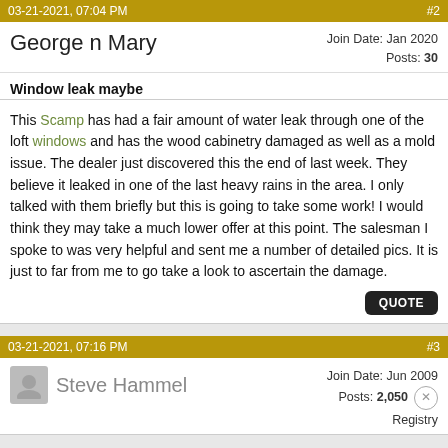03-21-2021, 07:04 PM  #2
George n Mary  Join Date: Jan 2020  Posts: 30
Window leak maybe
This Scamp has had a fair amount of water leak through one of the loft windows and has the wood cabinetry damaged as well as a mold issue. The dealer just discovered this the end of last week. They believe it leaked in one of the last heavy rains in the area. I only talked with them briefly but this is going to take some work! I would think they may take a much lower offer at this point. The salesman I spoke to was very helpful and sent me a number of detailed pics. It is just to far from me to go take a look to ascertain the damage.
03-21-2021, 07:16 PM  #3
Steve Hammel  Join Date: Jun 2009  Posts: 2,050  Registry